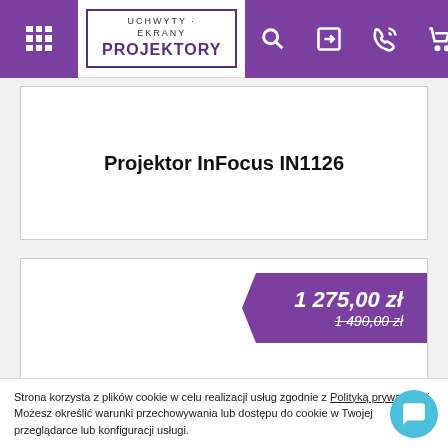UCHWYTY · EKRANY PROJEKTORY
[Figure (screenshot): Product placeholder card showing text: Projektor InFocus IN1126]
Projektor InFocus IN1126
1 275,00 zł   1 490,00 zł
PROMOCJA
Strona korzysta z plików cookie w celu realizacji usług zgodnie z Polityką prywatności. Możesz określić warunki przechowywania lub dostępu do cookie w Twojej przeglądarce lub konfiguracji usługi.